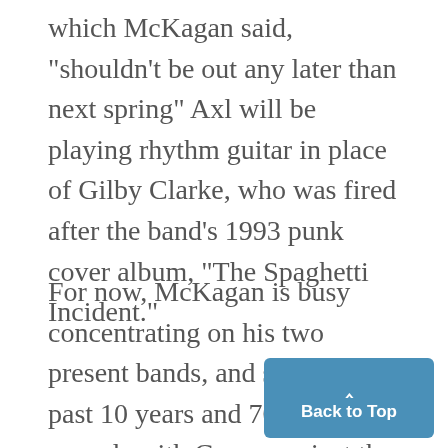which McKagan said, "shouldn't be out any later than next spring" Axl will be playing rhythm guitar in place of Gilby Clarke, who was fired after the band's 1993 punk cover album, "The Spaghetti Incident."
For now, McKagan is busy concentrating on his two present bands, and said the past 10 years and 70 million records with Guns was just the beginning. "I really feel like I've just started," he said. "The last 10 years was used to it, learning the tricks, a